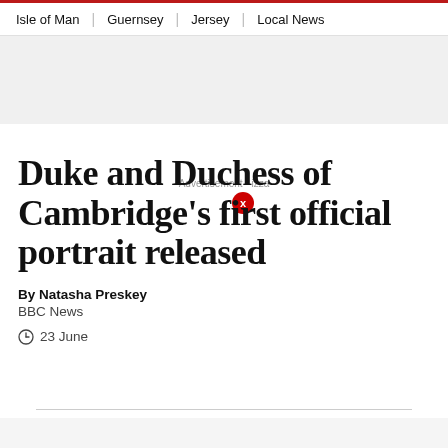Isle of Man | Guernsey | Jersey | Local News
[Figure (other): Gray advertisement banner placeholder]
Duke and Duchess of Cambridge's first official portrait released
By Natasha Preskey
BBC News
23 June